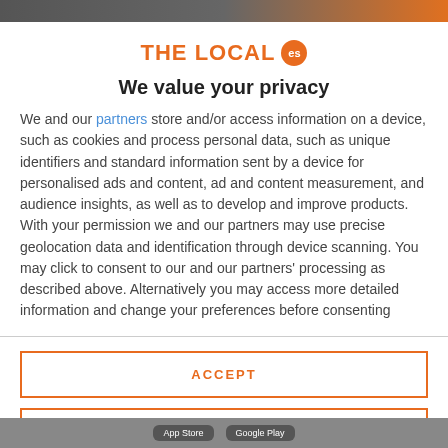[Figure (logo): The Local ES logo — orange text 'THE LOCAL' with an orange circular badge containing 'es']
We value your privacy
We and our partners store and/or access information on a device, such as cookies and process personal data, such as unique identifiers and standard information sent by a device for personalised ads and content, ad and content measurement, and audience insights, as well as to develop and improve products. With your permission we and our partners may use precise geolocation data and identification through device scanning. You may click to consent to our and our partners' processing as described above. Alternatively you may access more detailed information and change your preferences before consenting